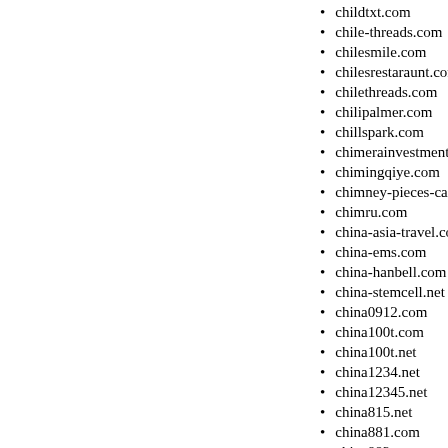childtxt.com
chile-threads.com
chilesmile.com
chilesrestaraunt.com
chilethreads.com
chilipalmer.com
chillspark.com
chimerainvestmentproperties
chimingqiye.com
chimney-pieces-carved.com
chimru.com
china-asia-travel.com
china-ems.com
china-hanbell.com
china-stemcell.net
china0912.com
china100t.com
china100t.net
china1234.net
china12345.net
china815.net
china881.com
china882.com
chinaasiatravel.com
chinabizcenter.com
chinachromium.com
chinacp999.com
chinadlw.com